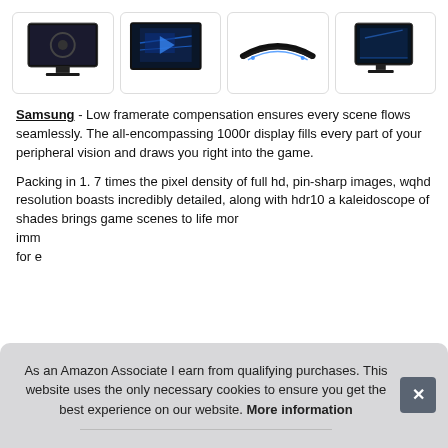[Figure (photo): Four product thumbnail images of Samsung curved gaming monitors in a row, each in a rounded rectangle border]
Samsung - Low framerate compensation ensures every scene flows seamlessly. The all-encompassing 1000r display fills every part of your peripheral vision and draws you right into the game.
Packing in 1. 7 times the pixel density of full hd, pin-sharp images, wqhd resolution boasts incredibly detailed, along with hdr10 a kaleidoscope of shades brings game scenes to life mor imm for e
As an Amazon Associate I earn from qualifying purchases. This website uses the only necessary cookies to ensure you get the best experience on our website. More information